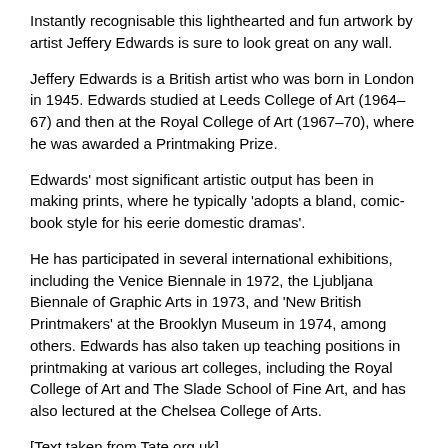Instantly recognisable this lighthearted and fun artwork by artist Jeffery Edwards is sure to look great on any wall.
Jeffery Edwards is a British artist who was born in London in 1945. Edwards studied at Leeds College of Art (1964–67) and then at the Royal College of Art (1967–70), where he was awarded a Printmaking Prize.
Edwards' most significant artistic output has been in making prints, where he typically 'adopts a bland, comic-book style for his eerie domestic dramas'.
He has participated in several international exhibitions, including the Venice Biennale in 1972, the Ljubljana Biennale of Graphic Arts in 1973, and 'New British Printmakers' at the Brooklyn Museum in 1974, among others. Edwards has also taken up teaching positions in printmaking at various art colleges, including the Royal College of Art and The Slade School of Fine Art, and has also lectured at the Chelsea College of Arts.
[Text taken from Tate.org.uk]